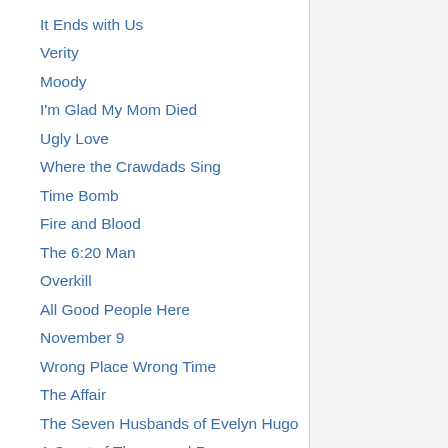It Ends with Us
Verity
Moody
I'm Glad My Mom Died
Ugly Love
Where the Crawdads Sing
Time Bomb
Fire and Blood
The 6:20 Man
Overkill
All Good People Here
November 9
Wrong Place Wrong Time
The Affair
The Seven Husbands of Evelyn Hugo
A Court of Thorns and Roses
All Your Perfects
The Cabin in the Woods
The Challenge
Reaching High...